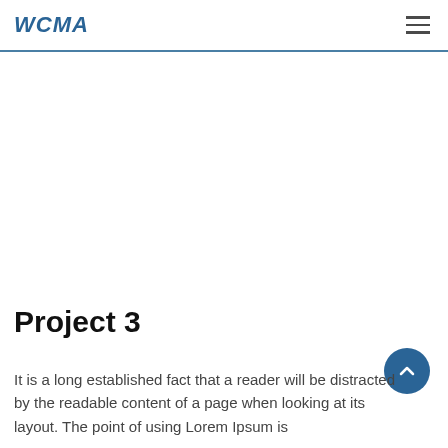WCMA
Project 3
It is a long established fact that a reader will be distracted by the readable content of a page when looking at its layout. The point of using Lorem Ipsum is